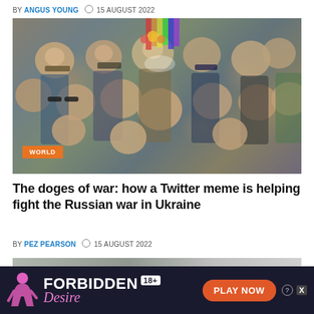BY ANGUS YOUNG  15 AUGUST 2022
[Figure (photo): Collage of Doge (Shiba Inu) meme faces photoshopped onto various military and civilian figures from different nations, with a WORLD badge overlay.]
The doges of war: how a Twitter meme is helping fight the Russian war in Ukraine
BY PEZ PEARSON  15 AUGUST 2022
[Figure (photo): Partial bottom image, appears to be a room interior.]
[Figure (advertisement): Ad banner for 'Forbidden Desire' 18+ game with PLAY NOW button.]